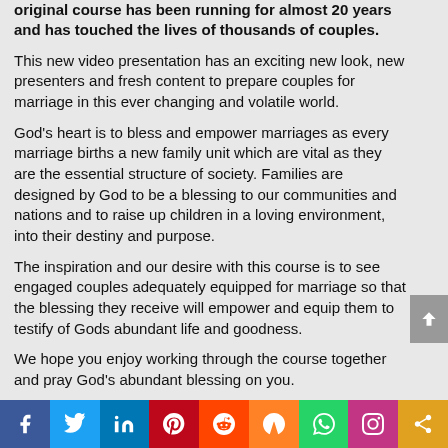original course has been running for almost 20 years and has touched the lives of thousands of couples.
This new video presentation has an exciting new look, new presenters and fresh content to prepare couples for marriage in this ever changing and volatile world.
God’s heart is to bless and empower marriages as every marriage births a new family unit which are vital as they are the essential structure of society. Families are designed by God to be a blessing to our communities and nations and to raise up children in a loving environment, into their destiny and purpose.
The inspiration and our desire with this course is to see engaged couples adequately equipped for marriage so that the blessing they receive will empower and equip them to testify of Gods abundant life and goodness.
We hope you enjoy working through the course together and pray God’s abundant blessing on you.
[Figure (infographic): Social media sharing bar with icons for Facebook, Twitter, LinkedIn, Pinterest, Reddit, Mix, WhatsApp, Instagram, and Share]